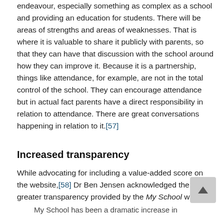endeavour, especially something as complex as a school and providing an education for students. There will be areas of strengths and areas of weaknesses. That is where it is valuable to share it publicly with parents, so that they can have that discussion with the school around how they can improve it. Because it is a partnership, things like attendance, for example, are not in the total control of the school. They can encourage attendance but in actual fact parents have a direct responsibility in relation to attendance. There are great conversations happening in relation to it.[57]
Increased transparency
While advocating for including a value-added score on the website,[58] Dr Ben Jensen acknowledged the greater transparency provided by the My School website:
My School has been a dramatic increase in